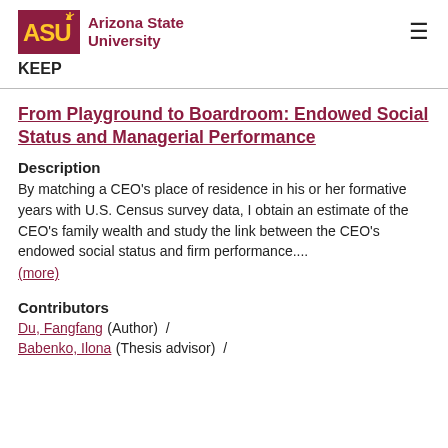[Figure (logo): Arizona State University logo with ASU wordmark in maroon and gold and text 'Arizona State University']
KEEP
From Playground to Boardroom: Endowed Social Status and Managerial Performance
Description
By matching a CEO's place of residence in his or her formative years with U.S. Census survey data, I obtain an estimate of the CEO's family wealth and study the link between the CEO's endowed social status and firm performance....
(more)
Contributors
Du, Fangfang (Author)  /
Babenko, Ilona (Thesis advisor)  /